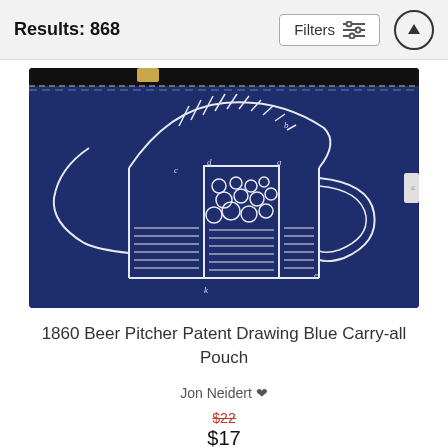Results: 868
[Figure (photo): A dark navy blue carry-all pouch with a white line drawing of a 1860 beer pitcher patent diagram printed on it, featuring a zipper at the top.]
1860 Beer Pitcher Patent Drawing Blue Carry-all Pouch
Jon Neidert
$22
$17